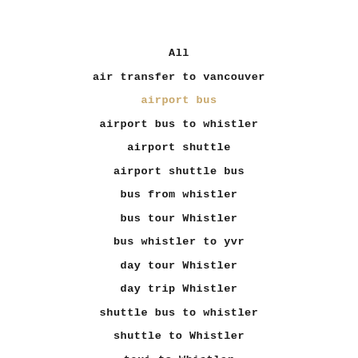All
air transfer to vancouver
airport bus
airport bus to whistler
airport shuttle
airport shuttle bus
bus from whistler
bus tour Whistler
bus whistler to yvr
day tour Whistler
day trip Whistler
shuttle bus to whistler
shuttle to Whistler
taxi to Whistler
tourist to whistler